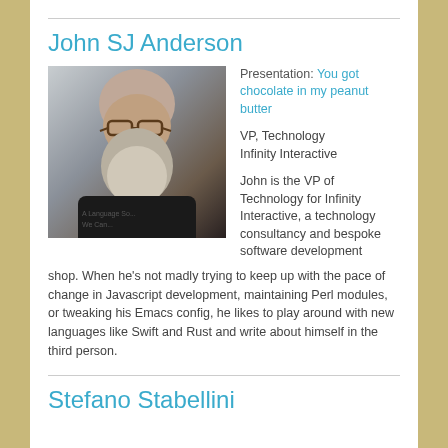John SJ Anderson
[Figure (photo): Headshot photo of John SJ Anderson, a bald man with a large grey beard wearing glasses and a black t-shirt]
Presentation: You got chocolate in my peanut butter
VP, Technology
Infinity Interactive
John is the VP of Technology for Infinity Interactive, a technology consultancy and bespoke software development shop. When he's not madly trying to keep up with the pace of change in Javascript development, maintaining Perl modules, or tweaking his Emacs config, he likes to play around with new languages like Swift and Rust and write about himself in the third person.
Stefano Stabellini